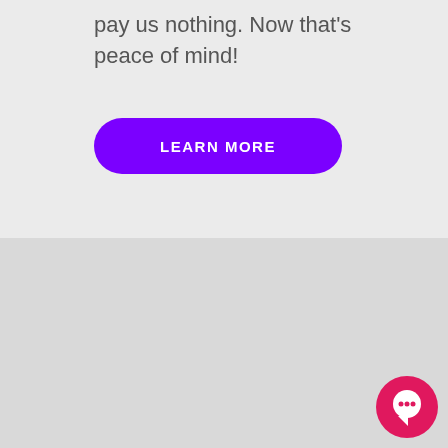pay us nothing. Now that's peace of mind!
LEARN MORE
[Figure (photo): Circular profile photo of a smiling man wearing sunglasses and a blue shirt, in an outdoor setting with price signs in background]
“Viv is an
innovative new company